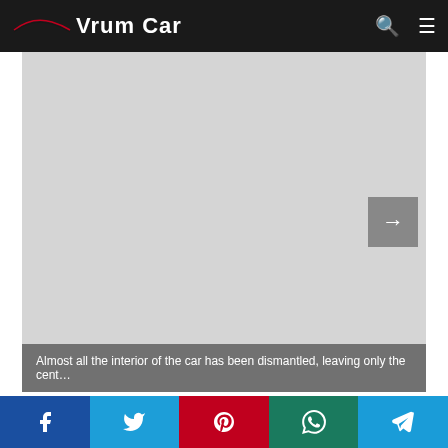Vrum Car
[Figure (photo): Large gray placeholder image area for a car interior photo with a right-arrow navigation button]
Almost all the interior of the car has been dismantled, leaving only the cent…
We use cookies to ensure better usability on our site. Read More
Accept
Facebook, Twitter, Pinterest, WhatsApp, Telegram social share buttons